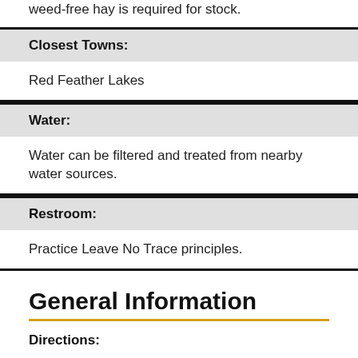Trail regulations. NPS fee required. Certified weed-free hay is required for stock.
Closest Towns:
Red Feather Lakes
Water:
Water can be filtered and treated from nearby water sources.
Restroom:
Practice Leave No Trace principles.
General Information
Directions: